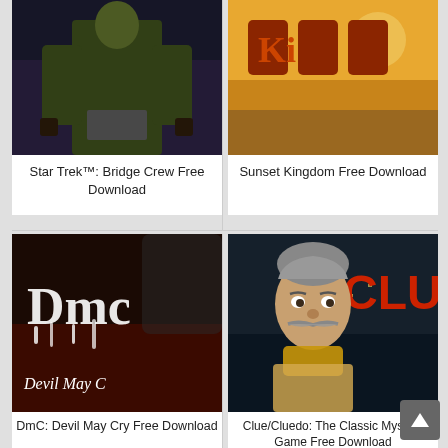[Figure (screenshot): Star Trek Bridge Crew game cover showing a character in tactical gear]
Star Trek™: Bridge Crew Free Download
[Figure (screenshot): Sunset Kingdom game cover with pixel-art style orange/warm tones]
Sunset Kingdom Free Download
[Figure (screenshot): DmC: Devil May Cry game cover with stylized dripping white logo on dark background]
DmC: Devil May Cry Free Download
[Figure (screenshot): Clue/Cluedo: The Classic Mystery Game cover showing a detective character with mustache]
Clue/Cluedo: The Classic Mystery Game Free Download